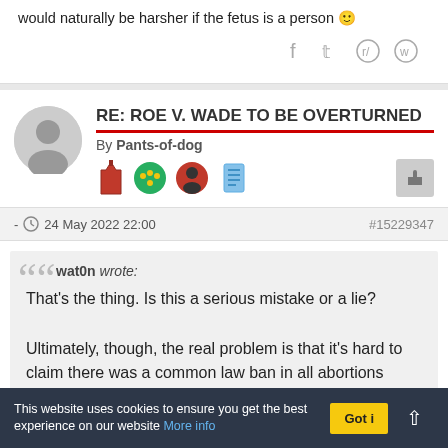would naturally be harsher if the fetus is a person 🙂
RE: ROE V. WADE TO BE OVERTURNED
By Pants-of-dog
- 24 May 2022 22:00   #15229347
wat0n wrote: That's the thing. Is this a serious mistake or a lie?

Ultimately, though, the real problem is that it's hard to claim there was a common law ban in all abortions when you have clear primary sources stating the opposite. He may say, as you did, it was an unscientific view, a wrong view that it is possible
This website uses cookies to ensure you get the best experience on our website More info